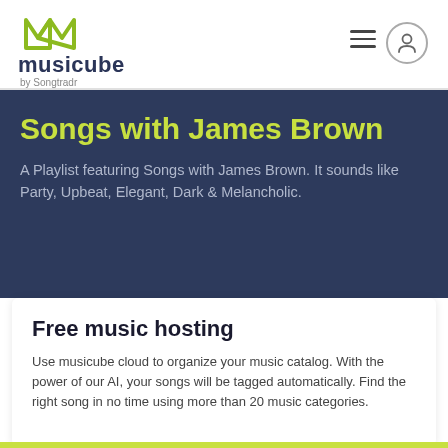musicube by Songtradr
Songs with James Brown
A Playlist featuring Songs with James Brown. It sounds like Party, Upbeat, Elegant, Dark & Melancholic.
Free music hosting
Use musicube cloud to organize your music catalog. With the power of our AI, your songs will be tagged automatically. Find the right song in no time using more than 20 music categories.